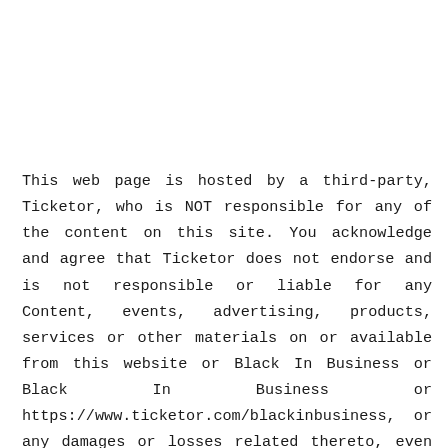This web page is hosted by a third-party, Ticketor, who is NOT responsible for any of the content on this site. You acknowledge and agree that Ticketor does not endorse and is not responsible or liable for any Content, events, advertising, products, services or other materials on or available from this website or Black In Business or Black In Business or https://www.ticketor.com/blackinbusiness, or any damages or losses related thereto, even if such website or resources are connected with Ticketor or are on Ticketor.com or any other domain owned by Ticketor. IN NO EVENT WILL TICKETOR, ITS AFFILIATES OR THEIR LICENSORS, SERVICE PROVIDERS, EMPLOYEES, AGENTS,